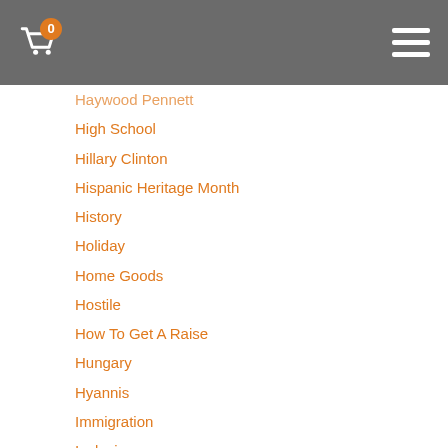0
Haywood Pennett
High School
Hillary Clinton
Hispanic Heritage Month
History
Holiday
Home Goods
Hostile
How To Get A Raise
Hungary
Hyannis
Immigration
Inclusion
India
Indian
Indian Employee Network
Indigenous People
Influenza
Information
International
International Guide Academy
Invasion
Jack Bryant Grew
Jacobi Cunningham
Jamaica
James A Charleston